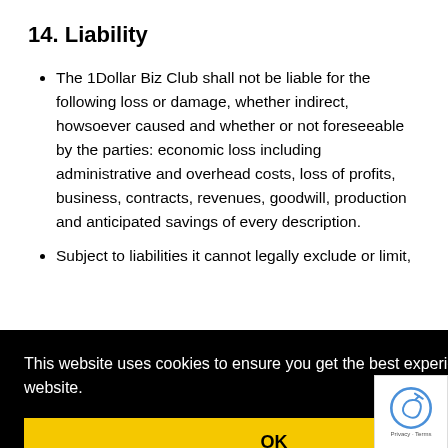14. Liability
The 1Dollar Biz Club shall not be liable for the following loss or damage, whether indirect, howsoever caused and whether or not foreseeable by the parties: economic loss including administrative and overhead costs, loss of profits, business, contracts, revenues, goodwill, production and anticipated savings of every description.
Subject to liabilities it cannot legally exclude or limit,
[Figure (screenshot): Cookie consent popup overlay with black background. Text: 'This website uses cookies to ensure you get the best experience on our website.' with a yellow OK button. Partially visible text on the right side reads 'ach of', 'ot', 'b'. A reCAPTCHA badge is visible in the bottom-right corner.]
15. Severability